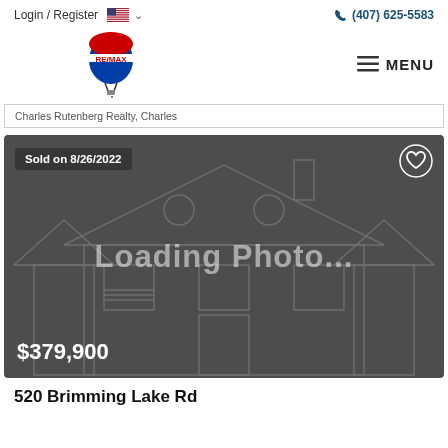Login / Register   🇺🇸 ∨   (407) 625-5583
[Figure (logo): RE/MAX logo - hot air balloon with red, white, and blue colors and RE/MAX text]
MENU
Charles Rutenberg Realty, Charles
[Figure (photo): Loading Photo... placeholder image showing a house outline on dark grey background. Sold on 8/26/2022 badge top left, heart icon top right, price $379,900 bottom left.]
520 Brimming Lake Rd